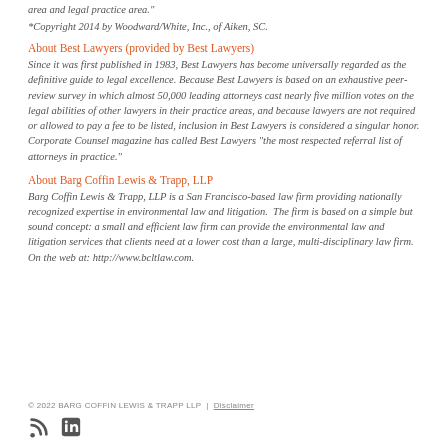area and legal practice area.”
*Copyright 2014 by Woodward/White, Inc., of Aiken, SC.
About Best Lawyers (provided by Best Lawyers)
Since it was first published in 1983, Best Lawyers has become universally regarded as the definitive guide to legal excellence. Because Best Lawyers is based on an exhaustive peer-review survey in which almost 50,000 leading attorneys cast nearly five million votes on the legal abilities of other lawyers in their practice areas, and because lawyers are not required or allowed to pay a fee to be listed, inclusion in Best Lawyers is considered a singular honor. Corporate Counsel magazine has called Best Lawyers “the most respected referral list of attorneys in practice.”
About Barg Coffin Lewis & Trapp, LLP
Barg Coffin Lewis & Trapp, LLP is a San Francisco-based law firm providing nationally recognized expertise in environmental law and litigation.  The firm is based on a simple but sound concept: a small and efficient law firm can provide the environmental law and litigation services that clients need at a lower cost than a large, multi-disciplinary law firm. On the web at: http://www.bcltlaw.com.
© 2022 BARG COFFIN LEWIS & TRAPP LLP | Disclaimer